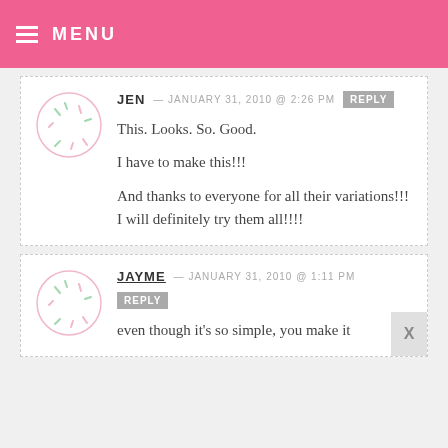MENU
JEN — JANUARY 31, 2010 @ 2:26 PM REPLY

This. Looks. So. Good.

I have to make this!!!

And thanks to everyone for all their variations!!! I will definitely try them all!!!!
JAYME — JANUARY 31, 2010 @ 1:11 PM REPLY

even though it's so simple, you make it